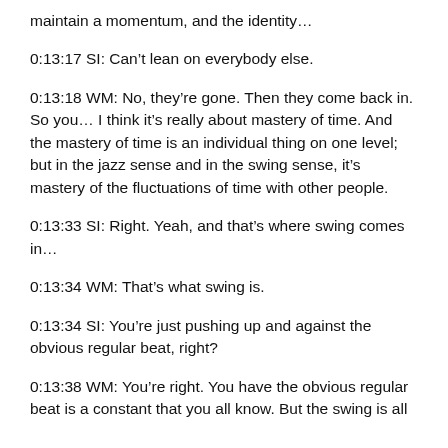maintain a momentum, and the identity…
0:13:17 SI: Can't lean on everybody else.
0:13:18 WM: No, they're gone. Then they come back in. So you… I think it's really about mastery of time. And the mastery of time is an individual thing on one level; but in the jazz sense and in the swing sense, it's mastery of the fluctuations of time with other people.
0:13:33 SI: Right. Yeah, and that's where swing comes in…
0:13:34 WM: That's what swing is.
0:13:34 SI: You're just pushing up and against the obvious regular beat, right?
0:13:38 WM: You're right. You have the obvious regular beat is a constant that you all know. But the swing is all